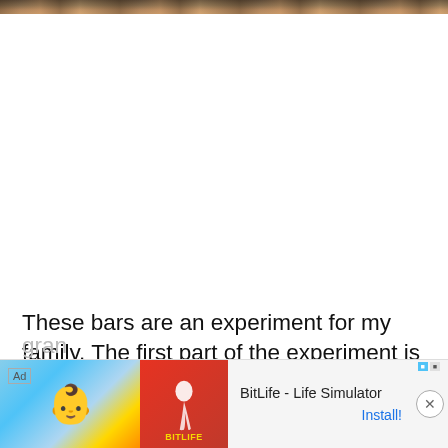[Figure (photo): Partial photo strip at the top of the page showing food items]
These bars are an experiment for my family. The first part of the experiment is a success – the bars taste good and the kids like them! The next part is to see if we can stop buying gran
[Figure (screenshot): Advertisement banner for BitLife - Life Simulator mobile app with install button and close button]